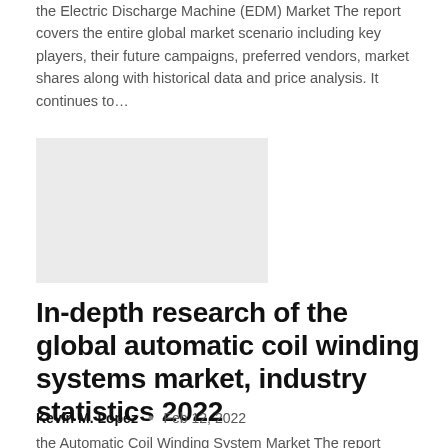the Electric Discharge Machine (EDM) Market The report covers the entire global market scenario including key players, their future campaigns, preferred vendors, market shares along with historical data and price analysis. It continues to…
[Figure (other): Gray placeholder image rectangle]
In-depth research of the global automatic coil winding systems market, industry statistics 2022
Kevin M. Lopez  •  Feb 12, 2022
the Automatic Coil Winding System Market The report covers the